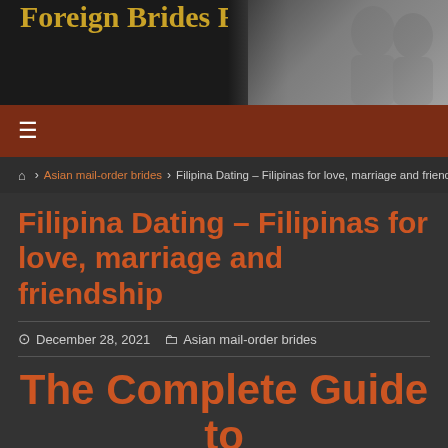Foreign Brides Finder
[Figure (photo): Black and white photo of two women in the top-right header area]
Filipina Dating – Filipinas for love, marriage and friendship
December 28, 2021  Asian mail-order brides
The Complete Guide to Dating a Filipina Woman